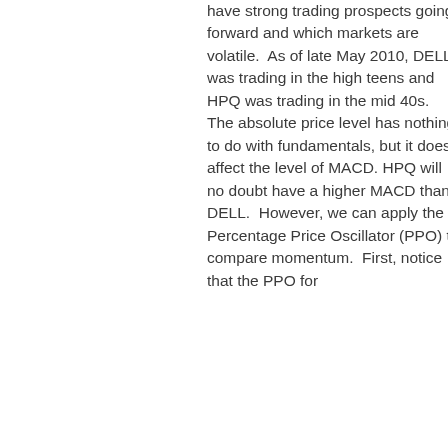have strong trading prospects going forward and which markets are volatile.  As of late May 2010, DELL was trading in the high teens and HPQ was trading in the mid 40s.  The absolute price level has nothing to do with fundamentals, but it does affect the level of MACD. HPQ will no doubt have a higher MACD than DELL.  However, we can apply the Percentage Price Oscillator (PPO) to compare momentum.  First, notice that the PPO for